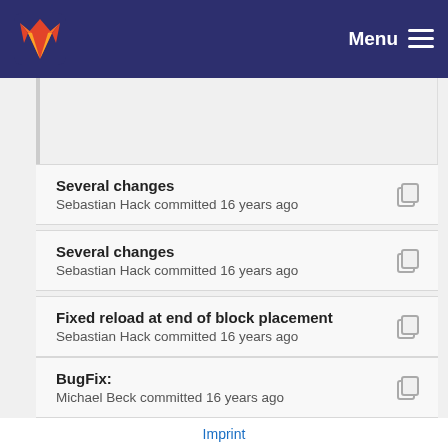GitLab — Menu
Several changes — Sebastian Hack committed 16 years ago
Several changes — Sebastian Hack committed 16 years ago
Fixed reload at end of block placement — Sebastian Hack committed 16 years ago
BugFix: — Michael Beck committed 16 years ago
Imprint